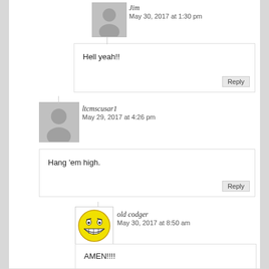[Figure (illustration): Generic user avatar (gray silhouette) for Jim]
Jim
May 30, 2017 at 1:30 pm
Hell yeah!!
Reply
[Figure (illustration): Generic user avatar (gray silhouette) for ltcmscusar1]
ltcmscusar1
May 29, 2017 at 4:26 pm
Hang 'em high.
Reply
[Figure (illustration): Evil smiley face avatar (yellow with devil eyebrows) for old codger]
old codger
May 30, 2017 at 8:50 am
AMEN!!!!
Reply
[Figure (illustration): Generic user avatar (gray silhouette) for Jesustheonlyway]
Jesustheonlyway
May 29, 2017 at 8:15 am